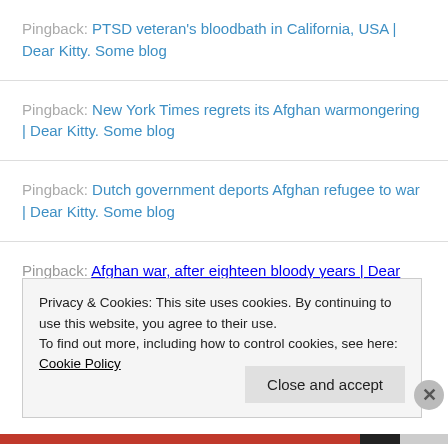Pingback: PTSD veteran's bloodbath in California, USA | Dear Kitty. Some blog
Pingback: New York Times regrets its Afghan warmongering | Dear Kitty. Some blog
Pingback: Dutch government deports Afghan refugee to war | Dear Kitty. Some blog
Pingback: Afghan war, after eighteen bloody years | Dear
Privacy & Cookies: This site uses cookies. By continuing to use this website, you agree to their use.
To find out more, including how to control cookies, see here: Cookie Policy
Close and accept